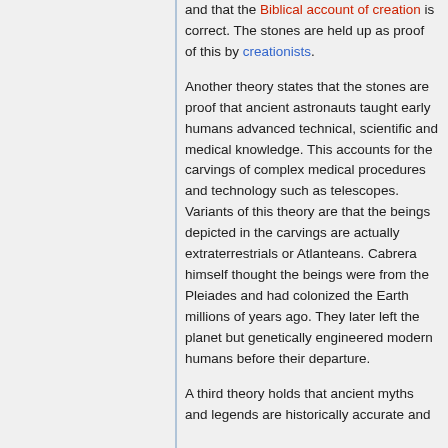and that the Biblical account of creation is correct. The stones are held up as proof of this by creationists.
Another theory states that the stones are proof that ancient astronauts taught early humans advanced technical, scientific and medical knowledge. This accounts for the carvings of complex medical procedures and technology such as telescopes. Variants of this theory are that the beings depicted in the carvings are actually extraterrestrials or Atlanteans. Cabrera himself thought the beings were from the Pleiades and had colonized the Earth millions of years ago. They later left the planet but genetically engineered modern humans before their departure.
A third theory holds that ancient myths and legends are historically accurate and